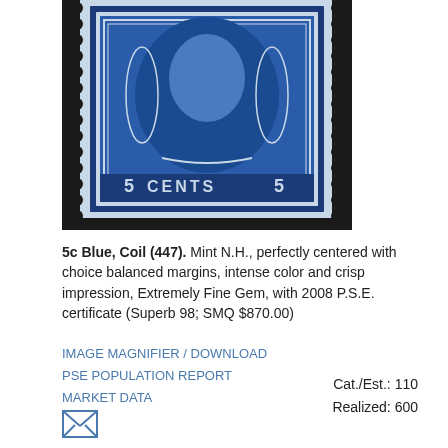[Figure (photo): Close-up photograph of a 5 cent blue Washington coil stamp (Scott #447), showing perforations on right side, dark blue color with portrait of Washington and '5 CENTS 5' text at bottom, mounted on black background]
5c Blue, Coil (447). Mint N.H., perfectly centered with choice balanced margins, intense color and crisp impression, Extremely Fine Gem, with 2008 P.S.E. certificate (Superb 98; SMQ $870.00)
IMAGE MAGNIFIER / DOWNLOAD
PSE POPULATION REPORT
MARKET DATA
[Figure (illustration): Envelope/email icon (letter symbol)]
Cat./Est.: 110
Realized: 600